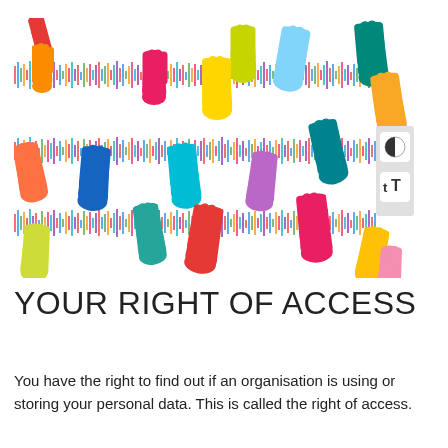[Figure (illustration): Colourful hand print silhouettes on a white background with multicolour waveform/static pattern overlaid. Various hand colours: red, orange, pink, magenta, yellow, lime green, cyan, light blue, teal, blue, purple, mauve. Two UI buttons on right side: a contrast toggle (half-circle icon) and a text-size toggle (tT icon).]
YOUR RIGHT OF ACCESS
You have the right to find out if an organisation is using or storing your personal data. This is called the right of access.